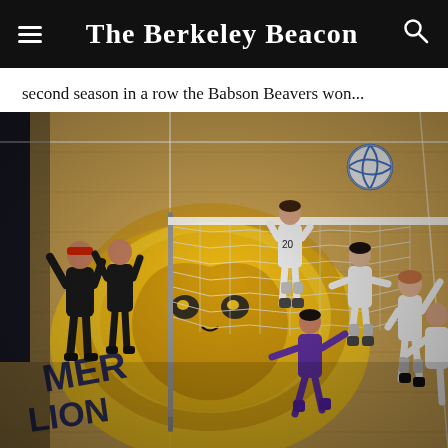The Berkeley Beacon
second season in a row the Babson Beavers won...
[Figure (photo): Volleyball game action shot taken from above, showing players at the net in a gymnasium decorated with the Emerson Lions logo on the court floor. Players in white uniforms (Emerson) and dark uniforms (opposing team) compete near the net. A volleyball is visible in the upper right. The court has a hardwood floor.]